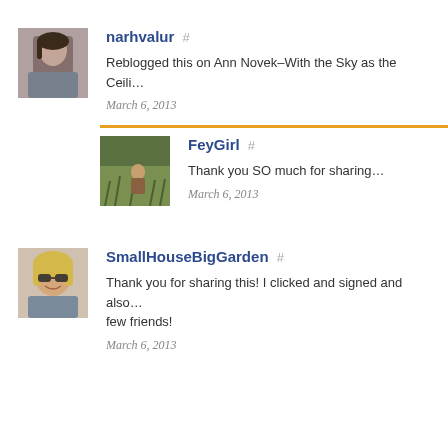[Figure (photo): Avatar photo of a young woman with dark hair]
narhvalur #
Reblogged this on Ann Novek–With the Sky as the Ceili…
March 6, 2013
[Figure (photo): Avatar photo of a person in a field with grass]
FeyGirl #
Thank you SO much for sharing…
March 6, 2013
[Figure (photo): Avatar photo of a woman with blonde hair and sunglasses]
SmallHouseBigGarden #
Thank you for sharing this! I clicked and signed and also… few friends!
March 6, 2013